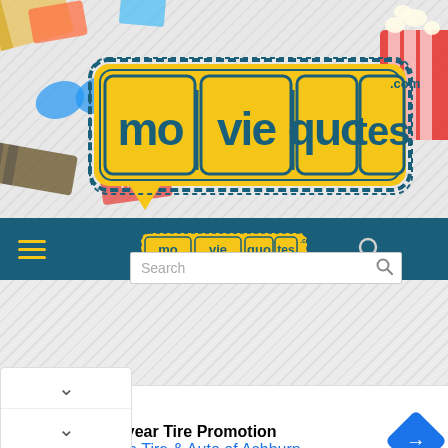[Figure (screenshot): moviequotes.com website header banner with colorful movie-themed background (film strips, popcorn, 3D glasses) and large yellow logo reading 'moviequotes.com' in teal letters on yellow speech bubble badge]
[Figure (screenshot): Dark teal navigation bar with hamburger menu icon (yellow lines), smaller moviequotes.com logo in center, search icon, and circular user profile icon on right]
[Figure (screenshot): White search bar with 'Search' placeholder text and magnifying glass icon]
[Figure (screenshot): Grey diagonal-striped content area below nav bar]
[Figure (screenshot): White dropdown panel with two chevron-down (v) buttons]
Goodyear Tire Promotion
Virginia Tire & Auto of Ashburn ...